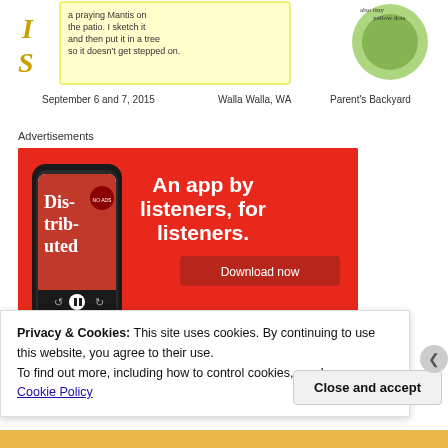[Figure (illustration): Top portion of a nature journal sketch page showing a praying mantis with handwritten notes and a green circular illustration. Text reads: 'a praying Mantis on the patio. I sketch it and then put it in a tree so it doesn't get stepped on.' Date: September 6 and 7, 2015. Location: Walla Walla, WA. Parent's Backyard.]
Advertisements
[Figure (screenshot): Advertisement with red background showing a smartphone displaying the 'Distributed' podcast app. Text reads: 'An app by listeners, for listeners.' with a 'Download now' button.]
Privacy & Cookies: This site uses cookies. By continuing to use this website, you agree to their use.
To find out more, including how to control cookies, see here:
Cookie Policy
Close and accept